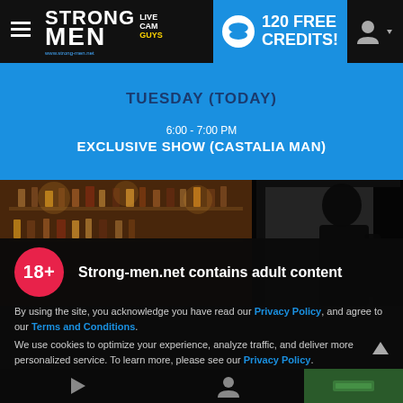Strong Men Live Cam Guys — 120 FREE CREDITS!
TUESDAY (TODAY)
6:00 - 7:00 PM
EXCLUSIVE SHOW (CASTALIA MAN)
[Figure (photo): Bar scene on the left with bottles on shelves; dark silhouette of a man on the right]
18+
Strong-men.net contains adult content
By using the site, you acknowledge you have read our Privacy Policy, and agree to our Terms and Conditions.
We use cookies to optimize your experience, analyze traffic, and deliver more personalized service. To learn more, please see our Privacy Policy.
I AGREE